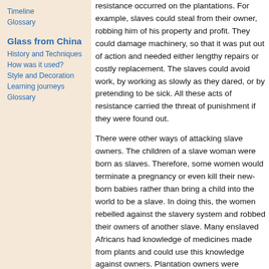Timeline
Glossary
Glass from China
History and Techniques
How was it used?
Style and Decoration
Learning journeys
Glossary
resistance occurred on the plantations. For example, slaves could steal from their owner, robbing him of his property and profit. They could damage machinery, so that it was put out of action and needed either lengthy repairs or costly replacement. The slaves could avoid work, by working as slowly as they dared, or by pretending to be sick. All these acts of resistance carried the threat of punishment if they were found out.
There were other ways of attacking slave owners. The children of a slave woman were born as slaves. Therefore, some women would terminate a pregnancy or even kill their new-born babies rather than bring a child into the world to be a slave. In doing this, the women rebelled against the slavery system and robbed their owners of another slave. Many enslaved Africans had knowledge of medicines made from plants and could use this knowledge against owners. Plantation owners were therefore worried that the slaves who cooked their food might poison them. Some even took an 'antidote' (which reverses the effects of poison) pr